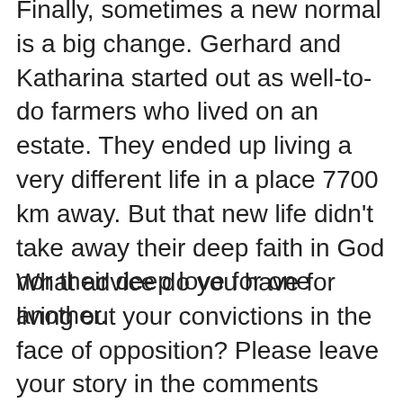Finally, sometimes a new normal is a big change. Gerhard and Katharina started out as well-to-do farmers who lived on an estate. They ended up living a very different life in a place 7700 km away. But that new life didn't take away their deep faith in God nor their deep love for one another.
What advice do you have for living out your convictions in the face of opposition? Please leave your story in the comments section below.
Remember, sharing is what friends do.
This post first appeared on my personal Facebook page in 2021.